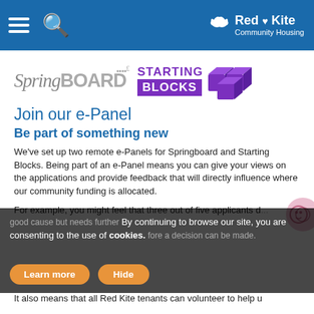Red Kite Community Housing
[Figure (logo): SpringBOARD and Starting Blocks logos side by side]
Join our e-Panel
Be part of something new
We've set up two remote e-Panels for Springboard and Starting Blocks. Being part of an e-Panel means you can give your views on the applications and provide feedback that will directly influence where our community funding is allocated.
For example, you might feel that three out of five applicants d...good cause but needs further ...fore a decision can be made.
By continuing to browse our site, you are consenting to the use of cookies.
It also means that all Red Kite tenants can volunteer to help u...